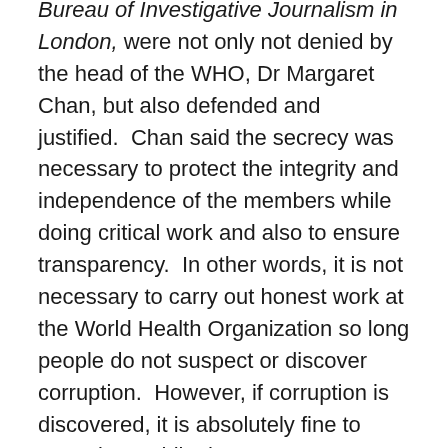BMJ, and Philip Garton, a journalist who works for the Bureau of Investigative Journalism in London, were not only not denied by the head of the WHO, Dr Margaret Chan, but also defended and justified. Chan said the secrecy was necessary to protect the integrity and independence of the members while doing critical work and also to ensure transparency. In other words, it is not necessary to carry out honest work at the World Health Organization so long people do not suspect or discover corruption. However, if corruption is discovered, it is absolutely fine to cover it up while the WHO investigates itself to determine if there is or not wrongdoing in its operations.
The British Medical Journal is not the only organization that found corruption at the heart of the WHO. As mentioned before, the European Health Council's